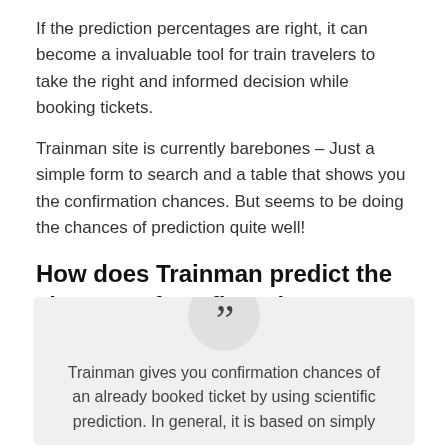If the prediction percentages are right, it can become a invaluable tool for train travelers to take the right and informed decision while booking tickets.
Trainman site is currently barebones – Just a simple form to search and a table that shows you the confirmation chances. But seems to be doing the chances of prediction quite well!
How does Trainman predict the chances of confirmation?
Trainman does it scientifically and algorithmically. Here is their explanation:
Trainman gives you confirmation chances of an already booked ticket by using scientific prediction. In general, it is based on simply